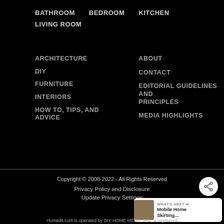BATHROOM  BEDROOM  KITCHEN
LIVING ROOM
ARCHITECTURE
DIY
FURNITURE
INTERIORS
HOW TO, TIPS, AND ADVICE
ABOUT
CONTACT
EDITORIAL GUIDELINES AND PRINCIPLES
MEDIA HIGHLIGHTS
Copyright © 2008-2022 - All Rights Reserved
Privacy Policy and Disclosure
Update Privacy Settings
Homedit.com is operated by DIY HOME MEDIA SRL, a registered